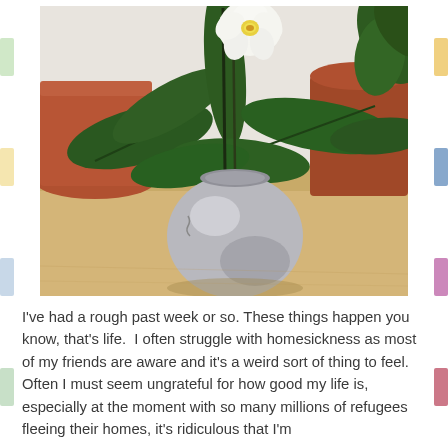[Figure (photo): A photo of an orchid plant with white and yellow flowers and large dark green leaves in a round silver metallic pot, sitting on a light wooden surface. In the background are terracotta pots and other plants.]
I've had a rough past week or so. These things happen you know, that's life.  I often struggle with homesickness as most of my friends are aware and it's a weird sort of thing to feel.  Often I must seem ungrateful for how good my life is, especially at the moment with so many millions of refugees fleeing their homes, it's ridiculous that I'm